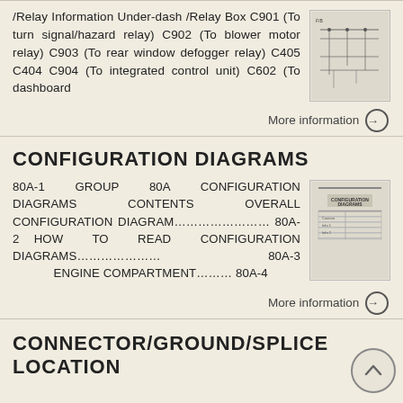/Relay Information Under-dash /Relay Box C901 (To turn signal/hazard relay) C902 (To blower motor relay) C903 (To rear window defogger relay) C405 C404 C904 (To integrated control unit) C602 (To dashboard
[Figure (schematic): Thumbnail schematic of relay/fuse box wiring diagram]
More information →
CONFIGURATION DIAGRAMS
80A-1 GROUP 80A CONFIGURATION DIAGRAMS CONTENTS OVERALL CONFIGURATION DIAGRAM..................... 80A-2 HOW TO READ CONFIGURATION DIAGRAMS.................... 80A-3 ENGINE COMPARTMENT......... 80A-4
[Figure (screenshot): Thumbnail image of Configuration Diagrams page showing table of contents]
More information →
CONNECTOR/GROUND/SPLICE LOCATION